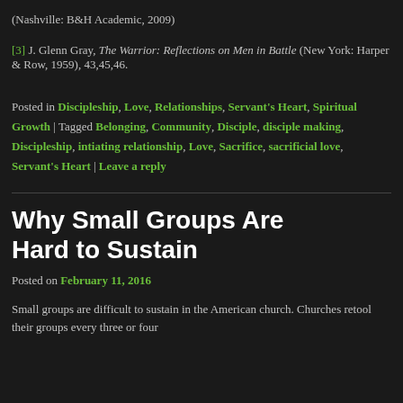(Nashville: B&H Academic, 2009)
[3] J. Glenn Gray, The Warrior: Reflections on Men in Battle (New York: Harper & Row, 1959), 43,45,46.
Posted in Discipleship, Love, Relationships, Servant's Heart, Spiritual Growth | Tagged Belonging, Community, Disciple, disciple making, Discipleship, intiating relationship, Love, Sacrifice, sacrificial love, Servant's Heart | Leave a reply
Why Small Groups Are Hard to Sustain
Posted on February 11, 2016
Small groups are difficult to sustain in the American church. Churches retool their groups every three or four